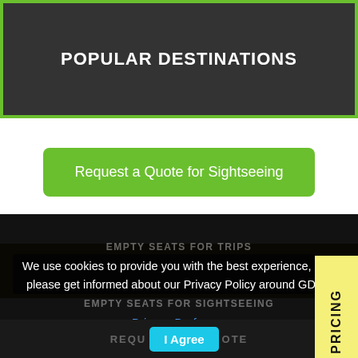POPULAR DESTINATIONS
Request a Quote for Sightseeing
INSTANT PRICING
EMPTY SEATS FOR TRIPS
We use cookies to provide you with the best experience, also please get informed about our Privacy Policy around GDPR
EMPTY SEATS FOR SIGHTSEEING
Privacy Preferences
I Agree
REQU OTE